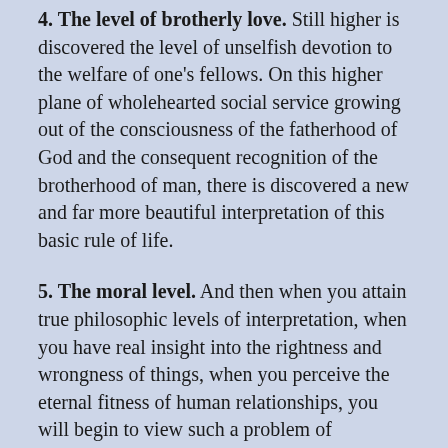4. The level of brotherly love. Still higher is discovered the level of unselfish devotion to the welfare of one's fellows. On this higher plane of wholehearted social service growing out of the consciousness of the fatherhood of God and the consequent recognition of the brotherhood of man, there is discovered a new and far more beautiful interpretation of this basic rule of life.
5. The moral level. And then when you attain true philosophic levels of interpretation, when you have real insight into the rightness and wrongness of things, when you perceive the eternal fitness of human relationships, you will begin to view such a problem of interpretation as you would imagine a high-minded, idealistic, wise, and impartial third person would so view and interpret such an injunction as applied to your